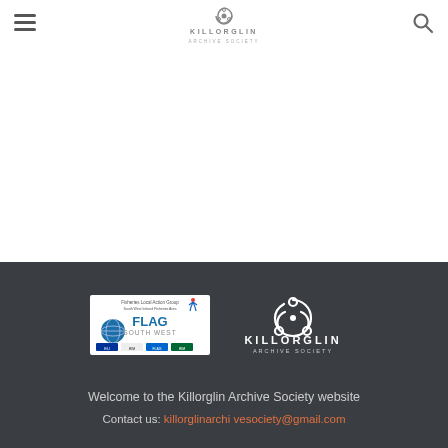[Figure (logo): Killorglin Archive Society logo in header]
[Figure (logo): FLAG South West logo with EU and BIM branding]
[Figure (logo): Killorglin Archive Society footer logo with triskelion symbol]
Welcome to the Killorglin Archive Society website
Contact us: killorglinarchi vesociety@gmail.com